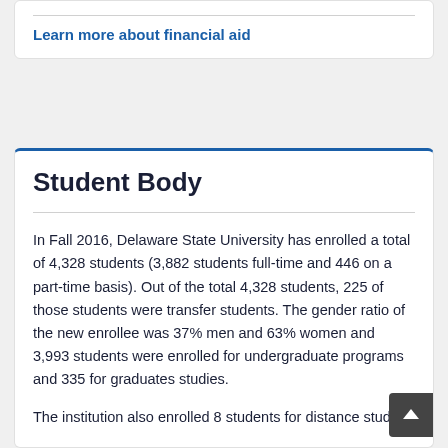Learn more about financial aid
Student Body
In Fall 2016, Delaware State University has enrolled a total of 4,328 students (3,882 students full-time and 446 on a part-time basis). Out of the total 4,328 students, 225 of those students were transfer students. The gender ratio of the new enrollee was 37% men and 63% women and 3,993 students were enrolled for undergraduate programs and 335 for graduates studies.
The institution also enrolled 8 students for distance studies.